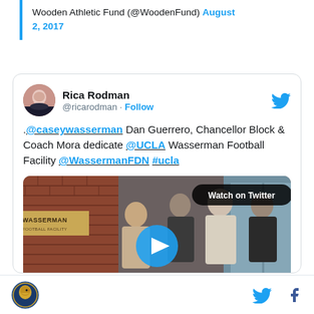Wooden Athletic Fund (@WoodenFund) August 2, 2017
[Figure (screenshot): Tweet from Rica Rodman (@ricarodman) with text: .@caseywasserman Dan Guerrero, Chancellor Block & Coach Mora dedicate @UCLA Wasserman Football Facility @WassermanFDN #ucla, with an embedded video thumbnail showing men at the Wasserman Football Center with a Watch on Twitter badge and play button]
Page footer with logo, Twitter icon, and Facebook icon